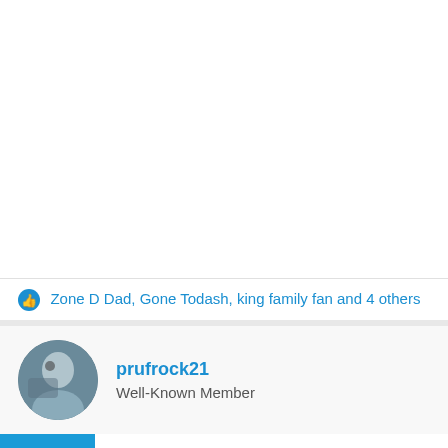Zone D Dad, Gone Todash, king family fan and 4 others
prufrock21
Well-Known Member
This site uses cookies to help personalise content, tailor your experience and to keep you logged in if you register. By continuing to use this site, you are consenting to our use of cookies.
Accept
Learn more...